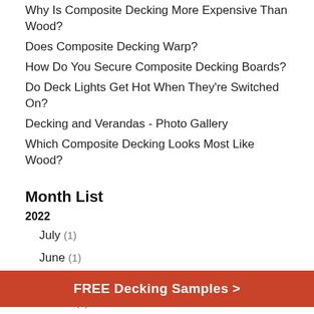Why Is Composite Decking More Expensive Than Wood?
Does Composite Decking Warp?
How Do You Secure Composite Decking Boards?
Do Deck Lights Get Hot When They're Switched On?
Decking and Verandas - Photo Gallery
Which Composite Decking Looks Most Like Wood?
Month List
2022
July (1)
June (1)
May (1)
March (1)
February (2)
2020
FREE Decking Samples >